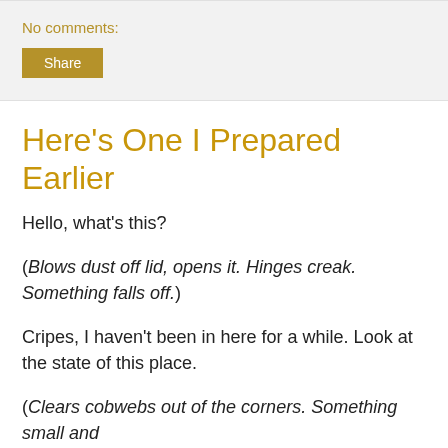No comments:
[Figure (other): Share button]
Here's One I Prepared Earlier
Hello, what's this?
(Blows dust off lid, opens it. Hinges creak. Something falls off.)
Cripes, I haven't been in here for a while. Look at the state of this place.
(Clears cobwebs out of the corners. Something small and